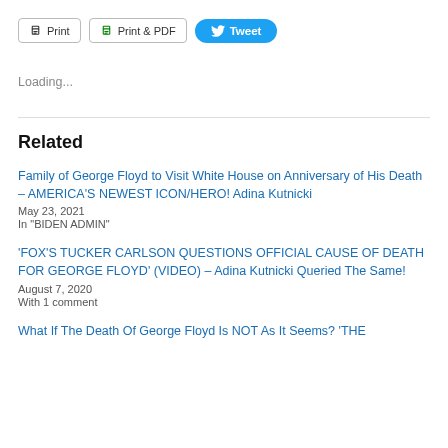[Figure (screenshot): Toolbar with Print, Print & PDF, and Tweet buttons]
Loading...
Related
Family of George Floyd to Visit White House on Anniversary of His Death – AMERICA'S NEWEST ICON/HERO! Adina Kutnicki
May 23, 2021
In "BIDEN ADMIN"
'FOX'S TUCKER CARLSON QUESTIONS OFFICIAL CAUSE OF DEATH FOR GEORGE FLOYD' (VIDEO) – Adina Kutnicki Queried The Same!
August 7, 2020
With 1 comment
What If The Death Of George Floyd Is NOT As It Seems? 'THE